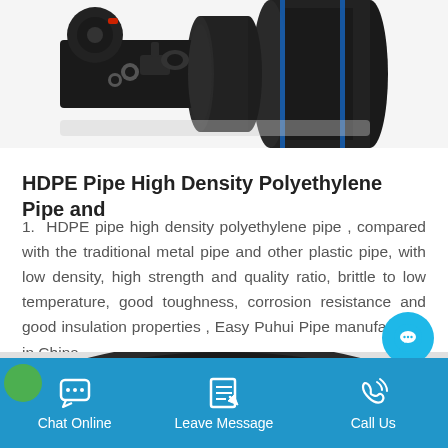[Figure (photo): Product photo showing various black HDPE pipes, fittings, and connectors arranged together against a white background.]
HDPE Pipe High Density Polyethylene Pipe and
1. HDPE pipe high density polyethylene pipe , compared with the traditional metal pipe and other plastic pipe, with low density, high strength and quality ratio, brittle to low temperature, good toughness, corrosion resistance and good insulation properties , Easy Puhui Pipe manufacturer in China
[Figure (photo): Close-up photo of a large black HDPE pipe roll/coil viewed from the end.]
Chat Online  Leave Message  Call Us